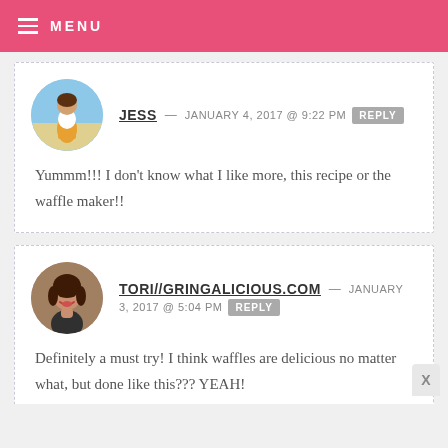MENU
JESS — JANUARY 4, 2017 @ 9:22 PM REPLY
Yummm!!! I don't know what I like more, this recipe or the waffle maker!!
TORI//GRINGALICIOUS.COM — JANUARY 3, 2017 @ 5:04 PM REPLY
Definitely a must try! I think waffles are delicious no matter what, but done like this??? YEAH!